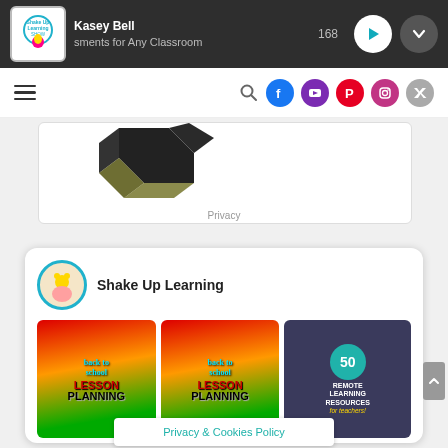Kasey Bell — sments for Any Classroom — 168
[Figure (screenshot): Navigation bar with hamburger menu, search icon, and social media icons (Facebook, YouTube, Pinterest, Instagram, Twitter)]
[Figure (photo): Advertisement showing a dark geometric product with Privacy label]
[Figure (photo): Shake Up Learning social card showing avatar and three images: Back to School Lesson Planning (x2) and 50 Remote Learning Resources for Teachers]
Privacy
Shake Up Learning
Privacy & Cookies Policy